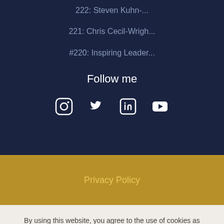222: Steven Kuhn-...
221: Chris Cecil-Wrigh...
#220: Inspiring Leader...
Follow me
[Figure (infographic): Social media icons: Instagram, Twitter, LinkedIn, YouTube]
Privacy Policy
By using this website, you agree to the use of cookies as described in our Privacy Policy.
Ok